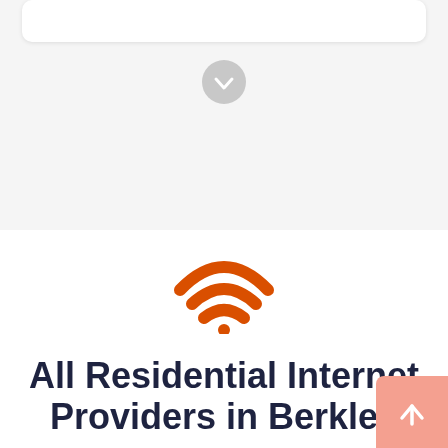[Figure (other): Gray circular download/scroll-down button with a downward arrow icon]
[Figure (other): Orange WiFi signal icon with three arcs and a dot]
All Residential Internet Providers in Berkley
[Figure (other): Salmon/pink scroll-to-top button in bottom right corner with an upward arrow icon]